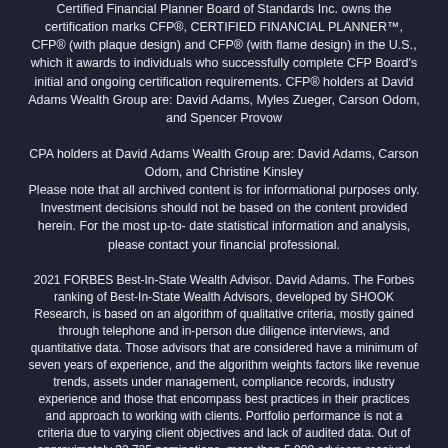Certified Financial Planner Board of Standards Inc. owns the certification marks CFP®, CERTIFIED FINANCIAL PLANNER™, CFP® (with plaque design) and CFP® (with flame design) in the U.S., which it awards to individuals who successfully complete CFP Board's initial and ongoing certification requirements. CFP® holders at David Adams Wealth Group are: David Adams, Myles Zueger, Carson Odom, and Spencer Provow
CPA holders at David Adams Wealth Group are: David Adams, Carson Odom, and Christine Kinsley
Please note that all archived content is for informational purposes only. Investment decisions should not be based on the content provided herein. For the most up-to-date statistical information and analysis, please contact your financial professional.
2021 FORBES Best-In-State Wealth Advisor. David Adams. The Forbes ranking of Best-In-State Wealth Advisors, developed by SHOOK Research, is based on an algorithm of qualitative criteria, mostly gained through telephone and in-person due diligence interviews, and quantitative data. Those advisors that are considered have a minimum of seven years of experience, and the algorithm weights factors like revenue trends, assets under management, compliance records, industry experience and those that encompass best practices in their practices and approach to working with clients. Portfolio performance is not a criteria due to varying client objectives and lack of audited data. Out of approximately 32,725 nominations, more than 5,000 advisors received the award. This ranking is not indicative of an advisor's future performance, is not an endorsement, and may not be representative of individual clients' experience. Neither Raymond James nor any of its Financial Advisors or RIA firms pay a fee in exchange for this award/rating.